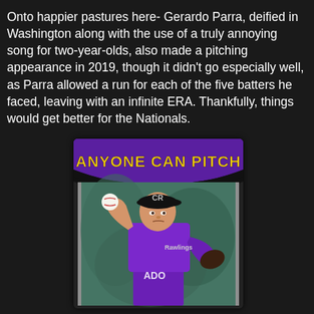Onto happier pastures here- Gerardo Parra, deified in Washington along with the use of a truly annoying song for two-year-olds, also made a pitching appearance in 2019, though it didn't go especially well, as Parra allowed a run for each of the five batters he faced, leaving with an infinite ERA. Thankfully, things would get better for the Nationals.
[Figure (illustration): A baseball trading card styled graphic titled 'ANYONE CAN PITCH' showing a player in a purple Colorado Rockies uniform in a pitching stance, holding a baseball. The card has a black and purple header with bold yellow text.]